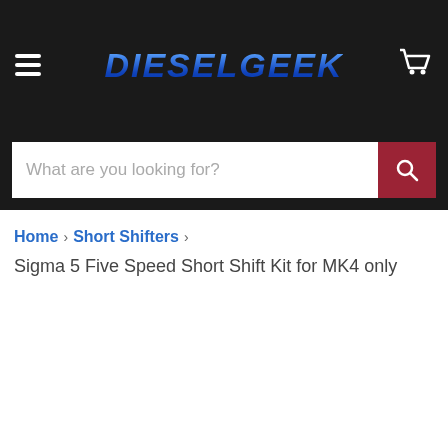DIESELGEEK
What are you looking for?
Home › Short Shifters › Sigma 5 Five Speed Short Shift Kit for MK4 only